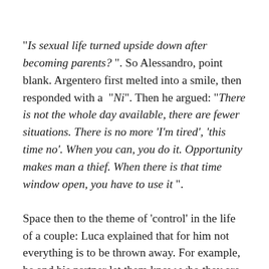“Is sexual life turned upside down after becoming parents? ”. So Alessandro, point blank. Argentero first melted into a smile, then responded with a “Ni”. Then he argued: “There is not the whole day available, there are fewer situations. There is no more ‘I’m tired’, ‘this time no’. When you can, you do it. Opportunity makes man a thief. When there is that time window open, you have to use it ”.
Space then to the theme of ‘control’ in the life of a couple: Luca explained that for him not everything is to be thrown away. For example, he and his partner let them know who they are with and where they go when they don’t go out together. In this case it is for “Don’t be worried”, underlined Luca who then told a very curious anecdote about Cristina and Stefano De Martino